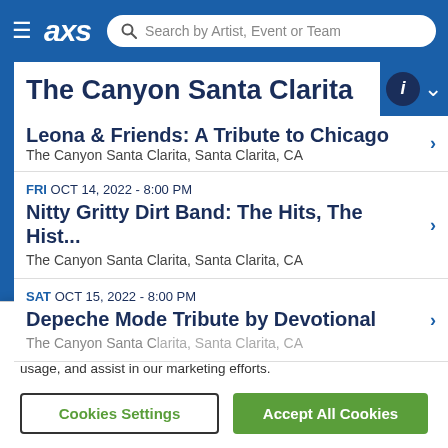AXS - Search by Artist, Event or Team
The Canyon Santa Clarita
Leona & Friends: A Tribute to Chicago - The Canyon Santa Clarita, Santa Clarita, CA
FRI OCT 14, 2022 - 8:00 PM - Nitty Gritty Dirt Band: The Hits, The Hist... - The Canyon Santa Clarita, Santa Clarita, CA
SAT OCT 15, 2022 - 8:00 PM - Depeche Mode Tribute by Devotional - The Canyon Santa Clarita, Santa Clarita, CA
By clicking “Accept All Cookies”, you agree to the storing of cookies on your device to enhance site navigation, analyze site usage, and assist in our marketing efforts.
Cookies Settings | Accept All Cookies